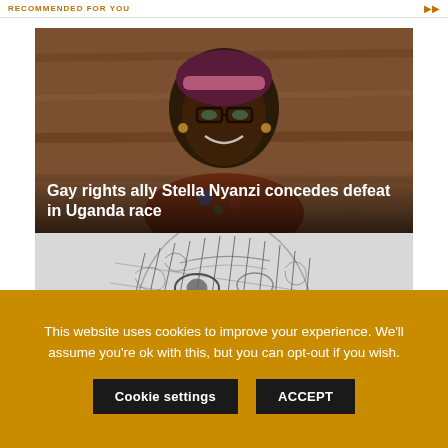RECOMMENDED FOR YOU
[Figure (photo): Photo of Stella Nyanzi, a woman with dreadlocks and a colorful headband, wearing glasses and smiling, against a wooden background]
Gay rights ally Stella Nyanzi concedes defeat in Uganda race
[Figure (illustration): Black and white pen sketch portrait of a face with intricate cross-hatching lines]
This website uses cookies to improve your experience. We'll assume you're ok with this, but you can opt-out if you wish.
Cookie settings
ACCEPT